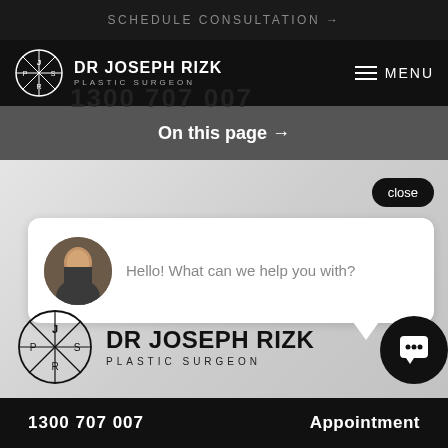SCHEDULE CONSULTATION →
DR JOSEPH RIZK PLASTIC SURGEON
MENU
On this page →
close
Hello! What can we help you with?
[Figure (logo): Dr Joseph Rizk Plastic Surgeon logo circle with initials P, J, S, R]
DR JOSEPH RIZK PLASTIC SURGEON
1300 707 007   Appointment